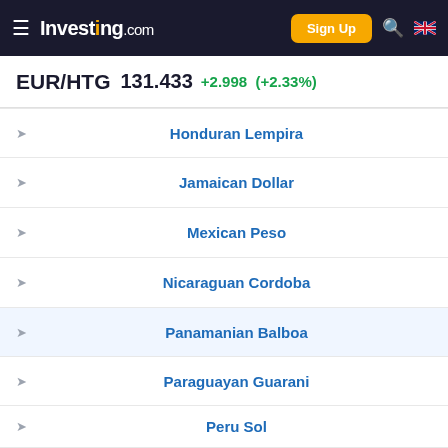Investing.com | Sign Up
EUR/HTG 131.433 +2.998 (+2.33%)
Honduran Lempira
Jamaican Dollar
Mexican Peso
Nicaraguan Cordoba
Panamanian Balboa
Paraguayan Guarani
Peru Sol
Trinidad Dollar
Uruguayan Peso
US Dollar
ADVERTISEMENT
Sterling OPEN 9AM–8PM
33000 Dulles Retail Plaza, #110, St...
EUR/HTG Discussions